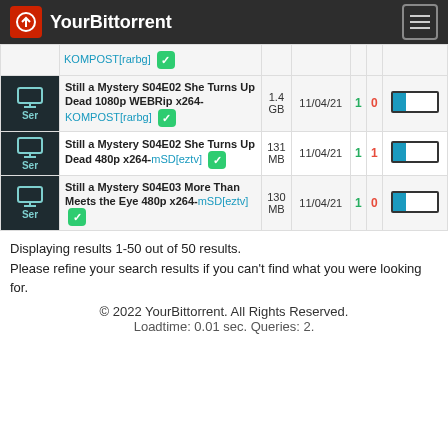YourBittorrent
|  | Name | Size | Date | S | L |  |
| --- | --- | --- | --- | --- | --- | --- |
|  | KOMPOST[rarbg] ✓ |  |  |  |  |  |
| Ser | Still a Mystery S04E02 She Turns Up Dead 1080p WEBRip x264-KOMPOST[rarbg] ✓ | 1.4 GB | 11/04/21 | 1 | 0 |  |
| Ser | Still a Mystery S04E02 She Turns Up Dead 480p x264-mSD[eztv] ✓ | 131 MB | 11/04/21 | 1 | 1 |  |
| Ser | Still a Mystery S04E03 More Than Meets the Eye 480p x264-mSD[eztv] ✓ | 130 MB | 11/04/21 | 1 | 0 |  |
Displaying results 1-50 out of 50 results.
Please refine your search results if you can't find what you were looking for.
© 2022 YourBittorrent. All Rights Reserved.
Loadtime: 0.01 sec. Queries: 2.